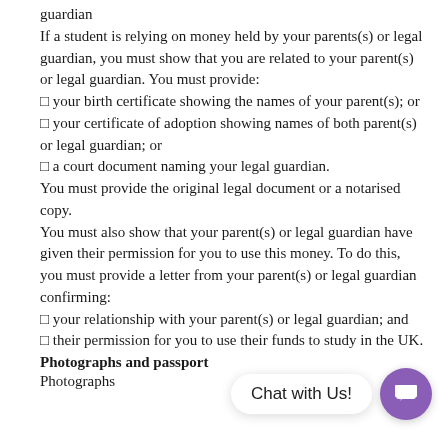guardian
If a student is relying on money held by your parents(s) or legal guardian, you must show that you are related to your parent(s) or legal guardian. You must provide:
◻ your birth certificate showing the names of your parent(s); or
◻ your certificate of adoption showing names of both parent(s) or legal guardian; or
◻ a court document naming your legal guardian.
You must provide the original legal document or a notarised copy.
You must also show that your parent(s) or legal guardian have given their permission for you to use this money. To do this, you must provide a letter from your parent(s) or legal guardian confirming:
◻ your relationship with your parent(s) or legal guardian; and
◻ their permission for you to use their funds to study in the UK.
Photographs and passport
Photographs